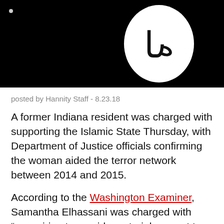[Figure (photo): Black background with a white circle containing black Arabic script, resembling an ISIS flag. Small light dot visible in upper left corner.]
posted by Hannity Staff - 8.23.18
A former Indiana resident was charged with supporting the Islamic State Thursday, with Department of Justice officials confirming the woman aided the terror network between 2014 and 2015.
According to the Washington Examiner, Samantha Elhassani was charged with "conspiring to provide material support to the Islamic State and helping provide material support to the terrorist organization."
“My office is committed to aggressively prosecuting...